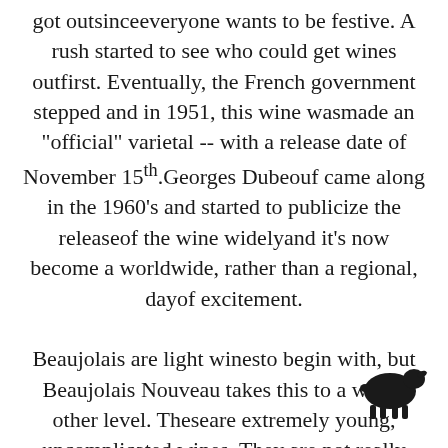got outsinceeveryone wants to be festive. A rush started to see who could get wines outfirst. Eventually, the French government stepped and in 1951, this wine wasmade an "official" varietal -- with a release date of November 15th.Georges Dubeouf came along in the 1960's and started to publicize the releaseof the wine widelyand it's now become a worldwide, rather than a regional, dayof excitement.

Beaujolais are light winesto begin with, but Beaujolais Nouveau takes this to a whole other level. Theseare extremely young, uncomplicated wines. They are not really made to go with food. As I said, they're made to be festival wine drunk from jugs as peopledance around in the
[Figure (illustration): Small black silhouette of a sheep/goat in the lower right area of the text]